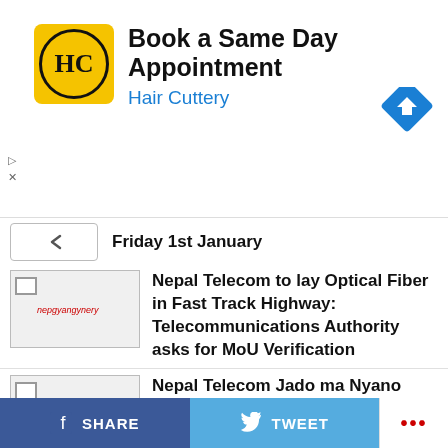[Figure (infographic): Advertisement banner for Hair Cuttery: Book a Same Day Appointment, with yellow logo and blue arrow icon]
Friday 1st January
[Figure (screenshot): Broken/placeholder thumbnail image with red text]
Nepal Telecom to lay Optical Fiber in Fast Track Highway: Telecommunications Authority asks for MoU Verification
[Figure (screenshot): Broken/placeholder thumbnail image with red text]
Nepal Telecom Jado ma Nyano Offer: Enjoy free Mobile data on FTTH subscription
[Figure (photo): Pink and blue mobile money themed thumbnail image]
Nepal Telecom To Launch 'Mobile Money ': Pay from your Phone's Balance
SHARE   TWEET   ...